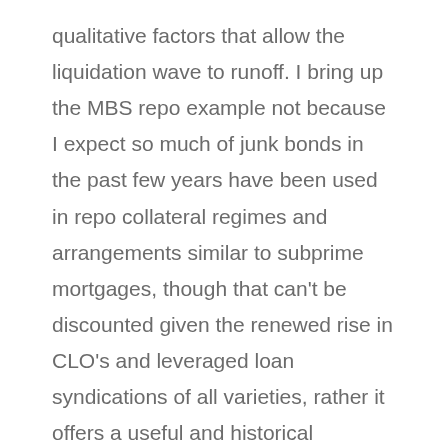qualitative factors that allow the liquidation wave to runoff. I bring up the MBS repo example not because I expect so much of junk bonds in the past few years have been used in repo collateral regimes and arrangements similar to subprime mortgages, though that can't be discounted given the renewed rise in CLO's and leveraged loan syndications of all varieties, rather it offers a useful and historical example by which to examine possible liquidity structures and processes under duress.
These liability chains do not, as Bernanke supposed then and Yellen likely does now, behave as purely assets. The repo implosion was in every